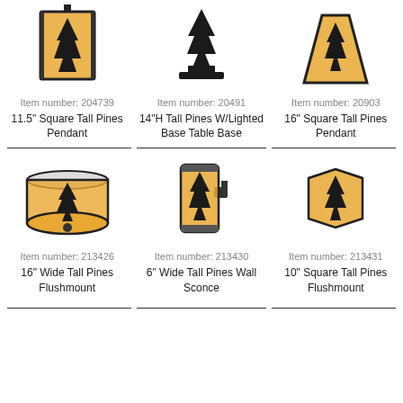[Figure (photo): 11.5 inch Square Tall Pines Pendant lamp with amber mica shade and pine tree silhouette]
Item number: 204739
11.5" Square Tall Pines Pendant
[Figure (photo): 14 inch H Tall Pines W/Lighted Base Table Base with pine tree silhouette]
Item number: 20491
14"H Tall Pines W/Lighted Base Table Base
[Figure (photo): 16 inch Square Tall Pines Pendant with amber mica and pine tree silhouette]
Item number: 20903
16" Square Tall Pines Pendant
[Figure (photo): 16 inch Wide Tall Pines Flushmount round ceiling light with amber mica and pine tree silhouette]
Item number: 213426
16" Wide Tall Pines Flushmount
[Figure (photo): 6 inch Wide Tall Pines Wall Sconce cylindrical amber mica with pine tree silhouette]
Item number: 213430
6" Wide Tall Pines Wall Sconce
[Figure (photo): 10 inch Square Tall Pines Flushmount ceiling light amber mica with pine tree silhouette]
Item number: 213431
10" Square Tall Pines Flushmount